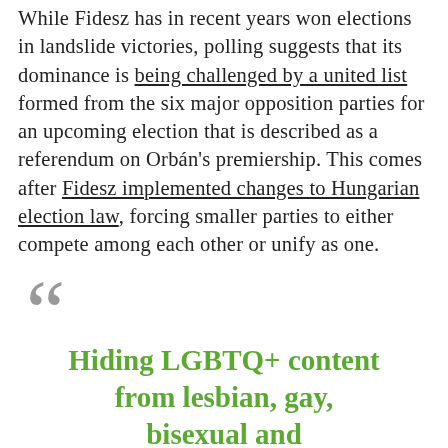While Fidesz has in recent years won elections in landslide victories, polling suggests that its dominance is being challenged by a united list formed from the six major opposition parties for an upcoming election that is described as a referendum on Orbán's premiership. This comes after Fidesz implemented changes to Hungarian election law, forcing smaller parties to either compete among each other or unify as one.
Hiding LGBTQ+ content from lesbian, gay, bisexual and transgender children